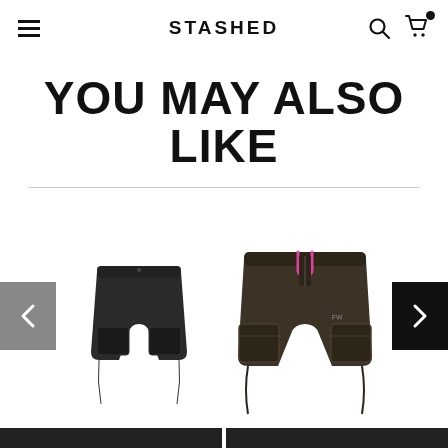STASHED
YOU MAY ALSO LIKE
[Figure (photo): Black cargo shorts product photo on white background]
[Figure (photo): Brown/olive cargo shorts with pink zipper accent, product photo on white background]